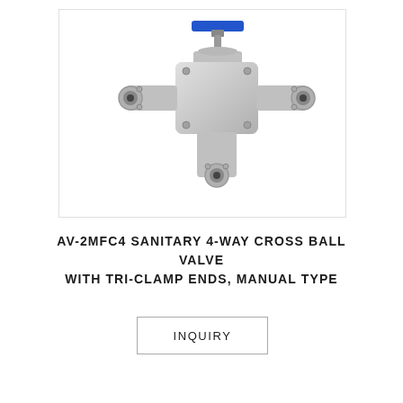[Figure (photo): Stainless steel AV-2MFC4 sanitary 4-way cross ball valve with tri-clamp ends and blue manual lever handle, shown from a three-quarter perspective view.]
AV-2MFC4 SANITARY 4-WAY CROSS BALL VALVE WITH TRI-CLAMP ENDS, MANUAL TYPE
INQUIRY